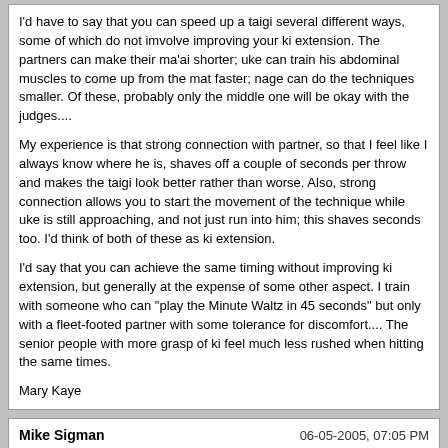I'd have to say that you can speed up a taigi several different ways, some of which do not imvolve improving your ki extension. The partners can make their ma'ai shorter; uke can train his abdominal muscles to come up from the mat faster; nage can do the techniques smaller. Of these, probably only the middle one will be okay with the judges....

My experience is that strong connection with partner, so that I feel like I always know where he is, shaves off a couple of seconds per throw and makes the taigi look better rather than worse. Also, strong connection allows you to start the movement of the technique while uke is still approaching, and not just run into him; this shaves seconds too. I'd think of both of these as ki extension.

I'd say that you can achieve the same timing without improving ki extension, but generally at the expense of some other aspect. I train with someone who can "play the Minute Waltz in 45 seconds" but only with a fleet-footed partner with some tolerance for discomfort.... The senior people with more grasp of ki feel much less rushed when hitting the same times.

Mary Kaye
Mike Sigman | 06-05-2005, 07:05 PM

Thanks, Mary Kaye. In other words, it is more of "using ki" during the Taigi than "extending ki". In which case, I understand and agree *sort of* with the idea. Of course, the judges looking for other things than just time makes me feel a lot better.

I looked briefly at some of the "old Taigi" that Ted recommended on a German website. Some of it was OK, but with a too-dramatic-too-helpful partner, some of it was pretty good... and a couple of things made me sit up and vow to watch them again as soon as I have a few free minutes. There's a problem with what I see some of the Japanese doing that I've never seen Americans do... and I'm not sure most Americans have the background to know how to generate those kinds of forces. My thought was something like... "so that's what those throws are really about; the American versions I've seen for so many years totally miss the point". In other words, there's some sort of disconnect between what I'm seeing some of the Japanese do and what I've seen *multiple* Americans do